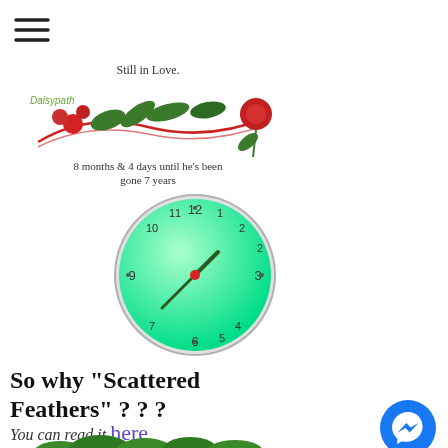[Figure (illustration): Hamburger menu icon (three horizontal lines) in top left corner]
[Figure (illustration): Daisypath anniversary widget showing roses and ribbon with text 'Still in Love.' and '8 months & 4 days until he's been gone 7 years']
[Figure (illustration): Green analog clock showing approximately 12:40]
So why "Scattered Feathers" ? ? ?
You can read it here
[Figure (illustration): Blue Facebook Messenger icon in bottom right area]
[Figure (photo): Green leafy plant at bottom of page]